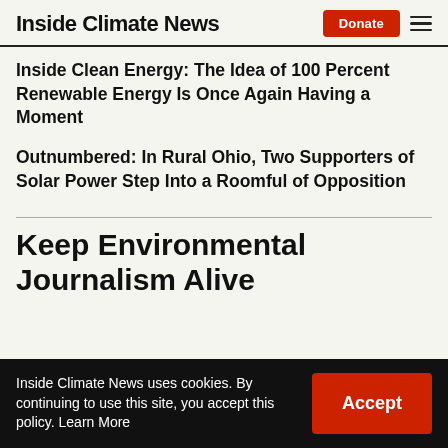Inside Climate News
Inside Clean Energy: The Idea of 100 Percent Renewable Energy Is Once Again Having a Moment
Outnumbered: In Rural Ohio, Two Supporters of Solar Power Step Into a Roomful of Opposition
Keep Environmental Journalism Alive
Inside Climate News uses cookies. By continuing to use this site, you accept this policy. Learn More